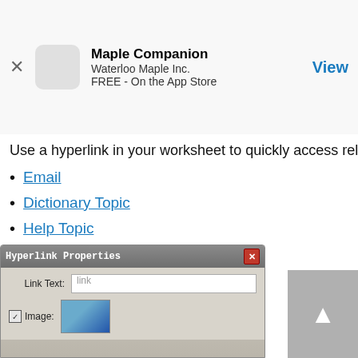Maple Companion
Waterloo Maple Inc.
FREE - On the App Store
Use a hyperlink in your worksheet to quickly access relate
Email
Dictionary Topic
Help Topic
Maplet
Task
Webpage (URL)
Worksheet
Workbook Attachment
Workbook File
[Figure (screenshot): Hyperlink Properties dialog box with Link Text field showing 'link' placeholder text and an Image checkbox row with a thumbnail image]